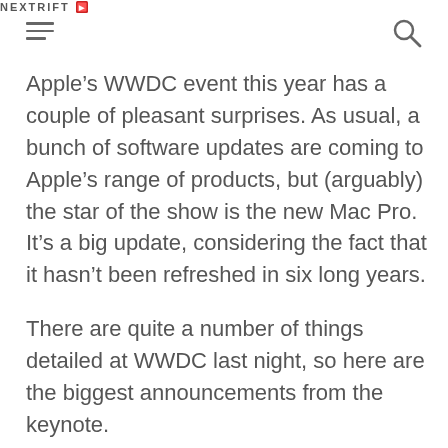NEXTRIFT
Apple’s WWDC event this year has a couple of pleasant surprises. As usual, a bunch of software updates are coming to Apple’s range of products, but (arguably) the star of the show is the new Mac Pro. It’s a big update, considering the fact that it hasn’t been refreshed in six long years.
There are quite a number of things detailed at WWDC last night, so here are the biggest announcements from the keynote.